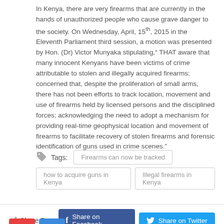In Kenya, there are very firearms that are currently in the hands of unauthorized people who cause grave danger to the society. On Wednesday, April, 15th, 2015 in the Eleventh Parliament third session, a motion was presented by Hon. (Dr) Victor Munyaka stipulating," THAT aware that many innocent Kenyans have been victims of crime attributable to stolen and illegally acquired firearms; concerned that, despite the proliferation of small arms, there has not been efforts to track location, movement and use of firearms held by licensed persons and the disciplined forces; acknowledging the need to adopt a mechanism for providing real-time geophysical location and movement of firearms to facilitate recovery of stolen firearms and forensic identification of guns used in crime scenes."
Firearms can now be tracked
how to acquire guns in Kenya
Illegal firearms in Kenya
Share Post  Share on Facebook  Share on Twitter